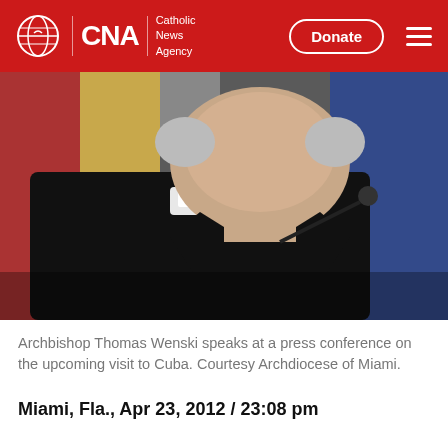CNA Catholic News Agency — Donate
[Figure (photo): Archbishop Thomas Wenski speaking at a press conference, wearing black clerical attire with white collar, flags visible in background]
Archbishop Thomas Wenski speaks at a press conference on the upcoming visit to Cuba. Courtesy Archdiocese of Miami.
Miami, Fla., Apr 23, 2012 / 23:08 pm